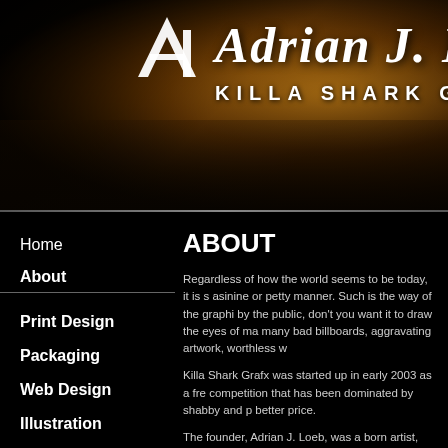[Figure (illustration): Dark banner header with golden/amber bokeh light burst effect. Contains stylized 'AL' logo mark on left and 'Adrian J. Loe' (Loeb) text in large italic serif font, with 'KILLA SHARK GRA' (Grafx) subtitle in spaced capital letters below.]
Home
About
Print Design
Packaging
Web Design
Illustration
Other
Links
Contact
ABOUT
Regardless of how the world seems to be today, it is s... asinine or petty manner. Such is the way of the graphi... by the public, don't you want it to draw the eyes of ma... many bad billboards, aggravating artwork, worthless w...
Killa Shark Grafx was started up in early 2003 as a fre... competition that has been dominated by shabby and p... better price.
The founder, Adrian J. Loeb, was a born artist, who sta... were characters, people, figures, etc. Over the years, ... burden) to better himself, adding graphic design to his... managed to push forward, graduating with honors and... University, Pomona in 1998. He has been in the graph... employers and rivals.
After building up his portfolio to quite a reputable stand... the way of the shark that has made him the outstandin...